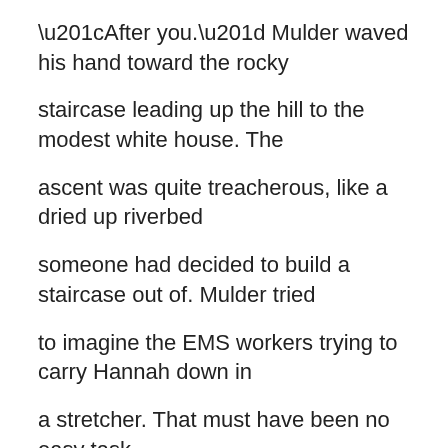“After you.” Mulder waved his hand toward the rocky staircase leading up the hill to the modest white house. The ascent was quite treacherous, like a dried up riverbed someone had decided to build a staircase out of. Mulder tried to imagine the EMS workers trying to carry Hannah down in a stretcher. That must have been no easy task. It took a while before anyone responded to the doorbell. After all, Hannah had been ordered to bed-rest since her little